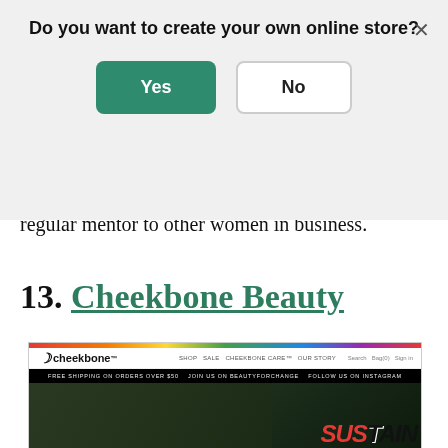[Figure (screenshot): Modal popup dialog asking 'Do you want to create your own online store?' with Yes (green) and No (white/outlined) buttons, and a close X button, overlaid on a light gray background.]
revenue to your classrooms, and Nadine is a regular mentor to other women in business.
13. Cheekbone Beauty
[Figure (screenshot): Screenshot of the Cheekbone Beauty website showing the logo with a crescent C symbol, a rainbow color bar at the top, navigation links, and a hero image of three young women in black against a green/dark background with the word SUSTAIN in large bold italic black and red text.]